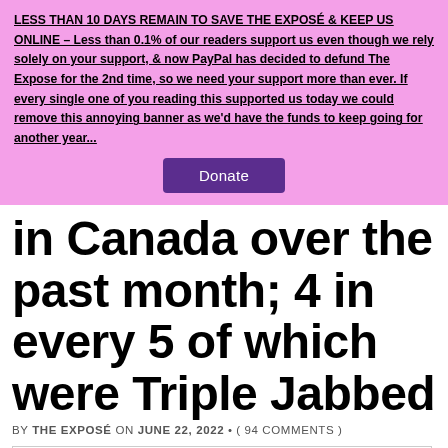LESS THAN 10 DAYS REMAIN TO SAVE THE EXPOSÉ & KEEP US ONLINE – Less than 0.1% of our readers support us even though we rely solely on your support, & now PayPal has decided to defund The Expose for the 2nd time, so we need your support more than ever. If every single one of you reading this supported us today we could remove this annoying banner as we'd have the funds to keep going for another year...
Donate
in Canada over the past month; 4 in every 5 of which were Triple Jabbed
BY THE EXPOSÉ ON JUNE 22, 2022 • ( 94 COMMENTS )
[Figure (other): Media player widget with circular play button (dark outline, play triangle) and a teal arc/logo element partially overlapping below-left]